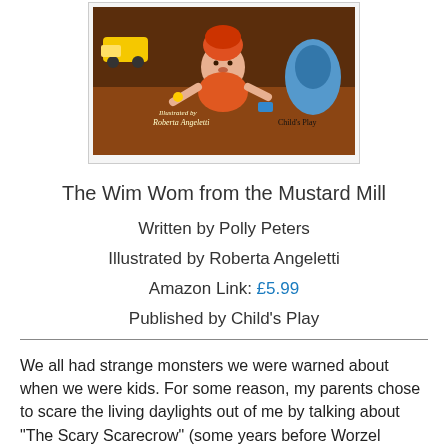[Figure (illustration): Book cover of 'The Wim Wom from the Mustard Mill' illustrated by Roberta Angeletti, published by Child's Play. Shows a cartoon child with red hair surrounded by toys and vehicles.]
The Wim Wom from the Mustard Mill
Written by Polly Peters
Illustrated by Roberta Angeletti
Amazon Link: £5.99
Published by Child's Play
We all had strange monsters we were warned about when we were kids. For some reason, my parents chose to scare the living daylights out of me by talking about "The Scary Scarecrow" (some years before Worzel Gummidge hit TV screens) and I've never quite got over it.